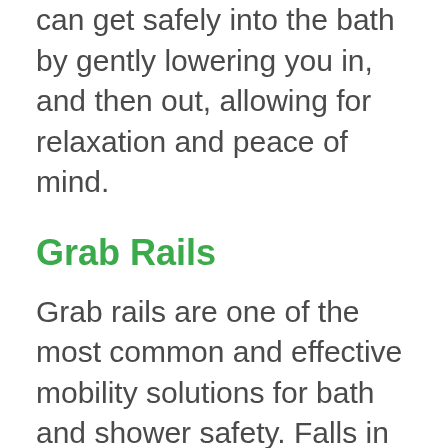bath lift will be able to ensure you can get safely into the bath by gently lowering you in, and then out, allowing for relaxation and peace of mind.
Grab Rails
Grab rails are one of the most common and effective mobility solutions for bath and shower safety. Falls in the bathroom are a serious danger — but grab rails can be a